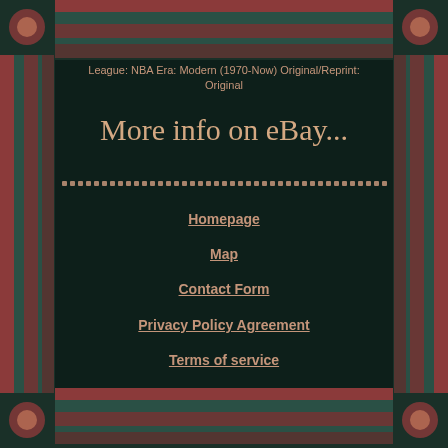League: NBA Era: Modern (1970-Now) Original/Reprint: Original
More info on eBay...
Homepage
Map
Contact Form
Privacy Policy Agreement
Terms of service